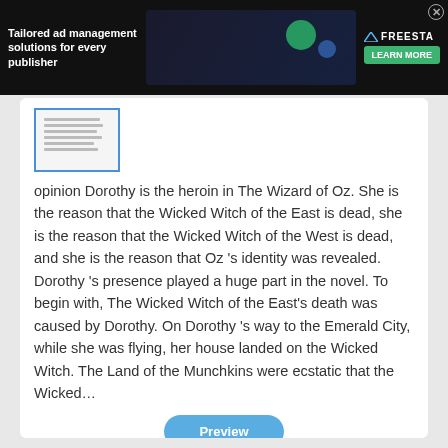[Figure (screenshot): Ad banner: 'Tailored ad management solutions for every publisher' with FREESTA branding and Learn More button]
[Figure (screenshot): Thumbnail preview of a document page]
opinion Dorothy is the heroin in The Wizard of Oz. She is the reason that the Wicked Witch of the East is dead, she is the reason that the Wicked Witch of the West is dead, and she is the reason that Oz 's identity was revealed. Dorothy 's presence played a huge part in the novel. To begin with, The Wicked Witch of the East's death was caused by Dorothy. On Dorothy 's way to the Emerald City, while she was flying, her house landed on the Wicked Witch. The Land of the Munchkins were ecstatic that the Wicked…
[Figure (screenshot): Preview button (blue rounded rectangle)]